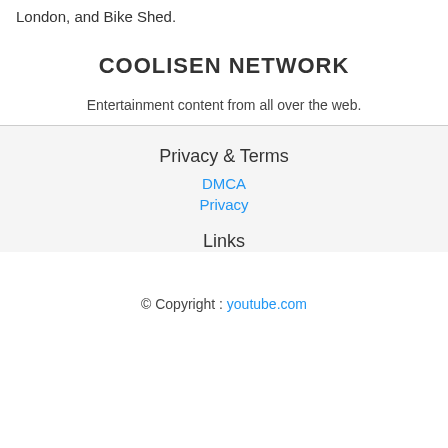London, and Bike Shed.
COOLISEN NETWORK
Entertainment content from all over the web.
Privacy & Terms
DMCA
Privacy
Links
© Copyright : youtube.com